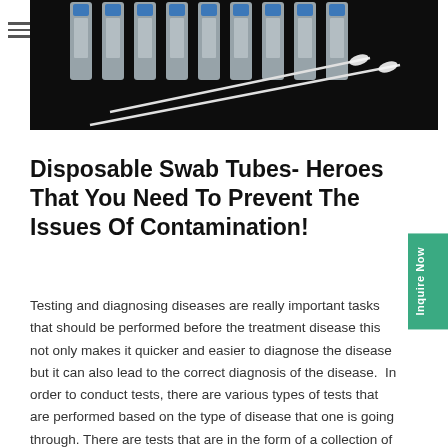[Figure (photo): Dark background photo showing multiple medical swab collection tubes arranged in a row, with two cotton swabs placed diagonally in front]
Disposable Swab Tubes- Heroes That You Need To Prevent The Issues Of Contamination!
Testing and diagnosing diseases are really important tasks that should be performed before the treatment disease this not only makes it quicker and easier to diagnose the disease but it can also lead to the correct diagnosis of the disease.  In order to conduct tests, there are various types of tests that are performed based on the type of disease that one is going through. There are tests that are in the form of a collection of blood samples, the others may be in the form of the samples that are collected from the nose and the